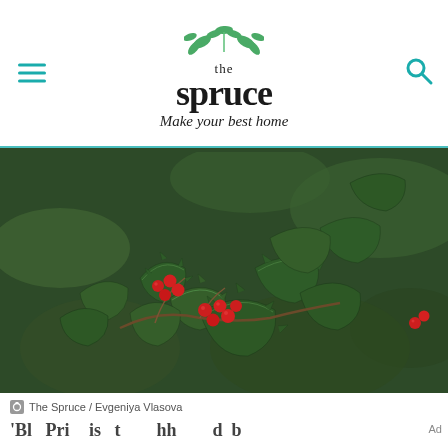the spruce — Make your best home
[Figure (photo): Close-up photograph of a holly bush with dark green spiky leaves and clusters of bright red berries, with blurred green foliage in the background.]
The Spruce / Evgeniya Vlasova
'Blue Princess' is a popular holly with...  Ad